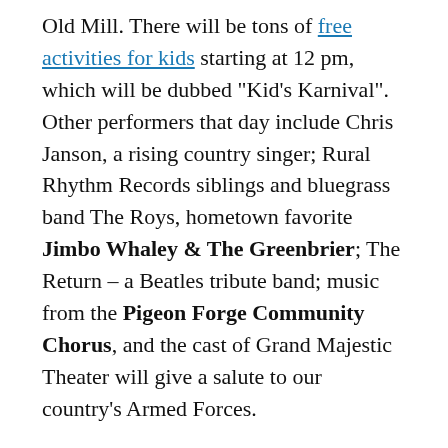Old Mill. There will be tons of free activities for kids starting at 12 pm, which will be dubbed "Kid's Karnival". Other performers that day include Chris Janson, a rising country singer; Rural Rhythm Records siblings and bluegrass band The Roys, hometown favorite Jimbo Whaley & The Greenbrier; The Return – a Beatles tribute band; music from the Pigeon Forge Community Chorus, and the cast of Grand Majestic Theater will give a salute to our country's Armed Forces.
Food vendors will also be at the event to give you and your family a chance to refuel and enjoy the entire day (the food is one of the only thing at the event that isn't free). You could also browse the event (it's right for) all here